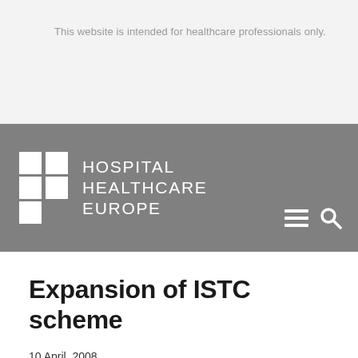This website is intended for healthcare professionals only.
[Figure (logo): Hospital Healthcare Europe logo with grid of white squares and white text on grey background, with hamburger menu and search icons]
Expansion of ISTC scheme
10 April, 2008